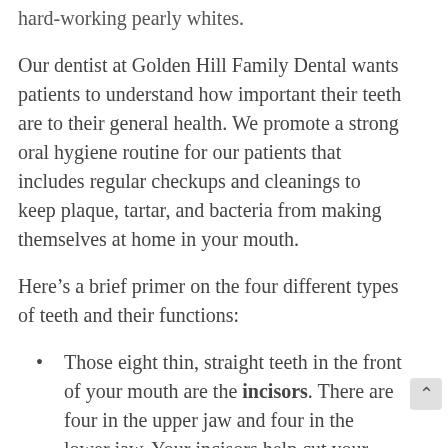hard-working pearly whites.
Our dentist at Golden Hill Family Dental wants patients to understand how important their teeth are to their general health. We promote a strong oral hygiene routine for our patients that includes regular checkups and cleanings to keep plaque, tartar, and bacteria from making themselves at home in your mouth.
Here’s a brief primer on the four different types of teeth and their functions:
Those eight thin, straight teeth in the front of your mouth are the incisors. There are four in the upper jaw and four in the lower jaw. Your incisors help cut your food into chewable pieces that are easier to swallow and digest.
The canines are those four teeth on each side of your incisors. These sharp, pointy teeth — which dentists call cuspids — are the longest teeth and help tearing our food.